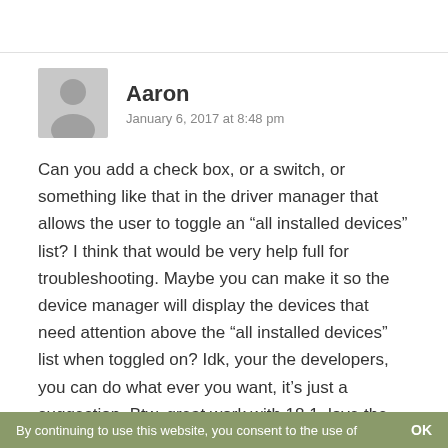[Figure (illustration): Grey avatar placeholder icon of a person silhouette]
Aaron
January 6, 2017 at 8:48 pm
Can you add a check box, or a switch, or something like that in the driver manager that allows the user to toggle an “all installed devices” list? I think that would be very help full for troubleshooting. Maybe you can make it so the device manager will display the devices that need attention above the “all installed devices” list when toggled on? Idk, your the developers, you can do what ever you want, it’s just a suggestion. Btw, great work with 18.1, love the new features!
Reply
By continuing to use this website, you consent to the use of   OK